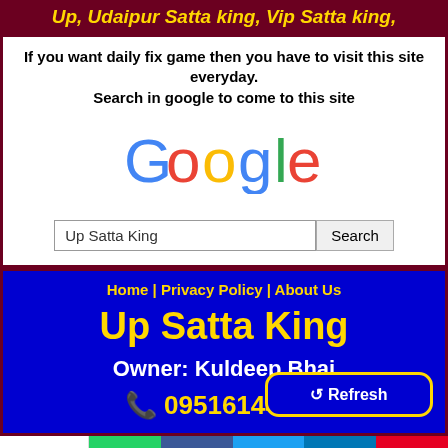Up, Udaipur Satta king, Vip Satta king,
If you want daily fix game then you have to visit this site everyday.
Search in google to come to this site
[Figure (logo): Google logo in multicolor letters]
Up Satta King [search box] Search
Home | Privacy Policy | About Us
Up Satta King
Owner: Kuldeep Bhai
📞 09516144357
↺ Refresh
0 SHARES | WhatsApp | Facebook | Twitter | LinkedIn | Pinterest